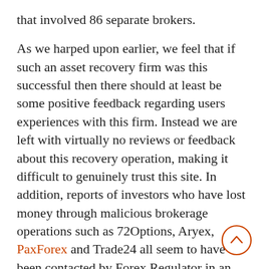that involved 86 separate brokers.
As we harped upon earlier, we feel that if such an asset recovery firm was this successful then there should at least be some positive feedback regarding users experiences with this firm. Instead we are left with virtually no reviews or feedback about this recovery operation, making it difficult to genuinely trust this site. In addition, reports of investors who have lost money through malicious brokerage operations such as 72Options, Aryex, PaxForex and Trade24 all seem to have been contacted by Forex Regulator in an attempt to solicit business with those who have already fallen victim to those scams.